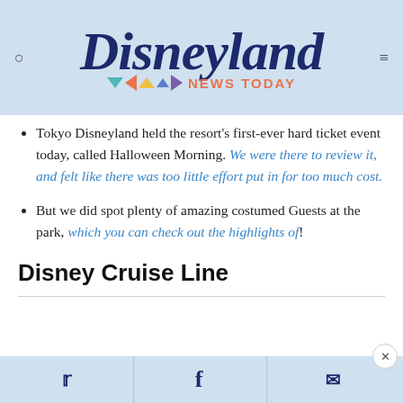Disneyland NEWS TODAY
Tokyo Disneyland held the resort's first-ever hard ticket event today, called Halloween Morning. We were there to review it, and felt like there was too little effort put in for too much cost.
But we did spot plenty of amazing costumed Guests at the park, which you can check out the highlights of!
Disney Cruise Line
Twitter | Facebook | Messenger